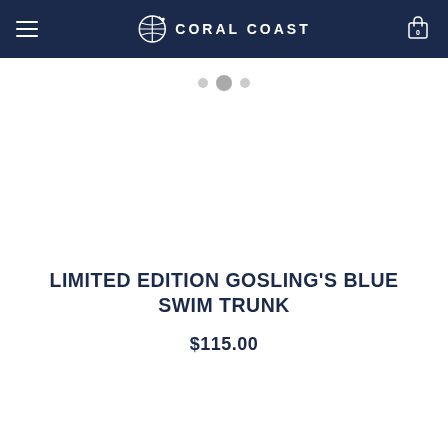CORAL COAST
[Figure (other): Carousel dot navigation indicators: three dots, the middle one larger and darker (active state)]
LIMITED EDITION GOSLING'S BLUE SWIM TRUNK
$115.00